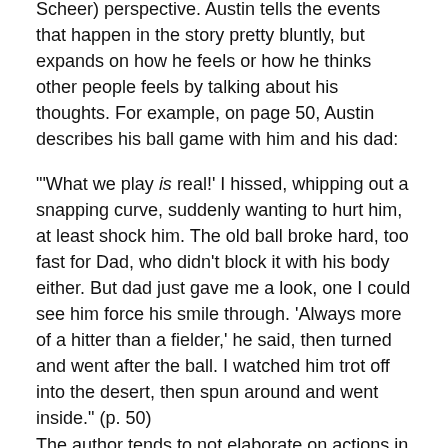Scheer) perspective. Austin tells the events that happen in the story pretty bluntly, but expands on how he feels or how he thinks other people feels by talking about his thoughts. For example, on page 50, Austin describes his ball game with him and his dad:
"'What we play is real!' I hissed, whipping out a snapping curve, suddenly wanting to hurt him, at least shock him. The old ball broke hard, too fast for Dad, who didn't block it with his body either. But dad just gave me a look, one I could see him force his smile through. 'Always more of a hitter than a fielder,' he said, then turned and went after the ball. I watched him trot off into the desert, then spun around and went inside." (p. 50)
The author tends to not elaborate on actions in the novel, and instead offers commentary on how the main character perceives the things that are going on around him. In the